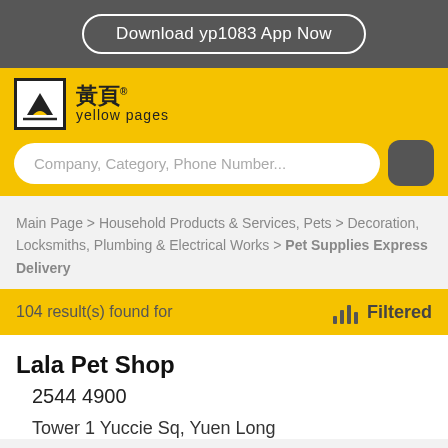Download yp1083 App Now
[Figure (logo): Yellow Pages logo with Chinese characters 黃頁 and text 'yellow pages']
Company, Category, Phone Number...
Main Page > Household Products & Services, Pets > Decoration, Locksmiths, Plumbing & Electrical Works > Pet Supplies Express Delivery
104 result(s) found for
Filtered
Lala Pet Shop
2544 4900
Tower 1 Yuccie Sq, Yuen Long